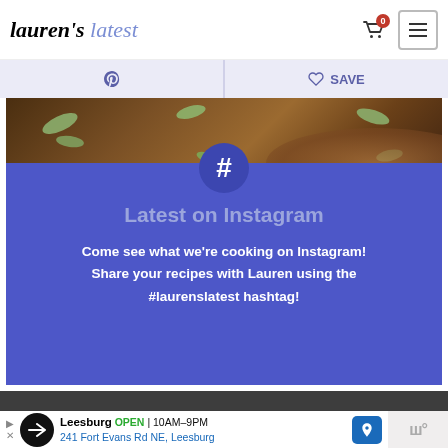lauren's latest
[Figure (other): Pinterest share button and Save button on lavender background bar]
[Figure (photo): Close-up photo of baked muffins topped with pumpkin seeds on dark background]
[Figure (infographic): Instagram promotional section with hash symbol, heading 'Latest on Instagram', and promotional text on blue/purple background]
Come see what we're cooking on Instagram! Share your recipes with Lauren using the #laurenslatest hashtag!
lauren's latest